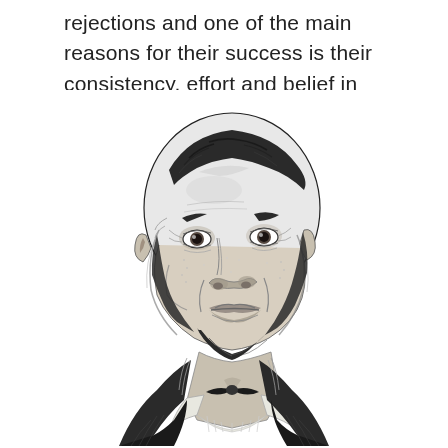rejections and one of the main reasons for their success is their consistency, effort and belief in them
[Figure (illustration): Black and white engraving-style portrait illustration of Abraham Lincoln, showing his face, beard, and upper torso in a suit with bow tie, rendered in a classic stipple/crosshatch style.]